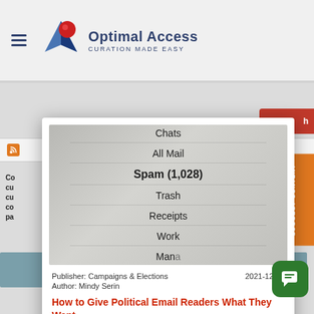[Figure (logo): Optimal Access logo with star/compass icon and text 'Optimal Access - Curation Made Easy']
[Figure (screenshot): Modal popup showing a phone email inbox screenshot with items: Chats, All Mail, Spam (1,028), Trash, Receipts, Work, Manage. Below the image: Publisher: Campaigns & Elections, Date: 2021-12-20, Author: Mindy Serin]
Publisher: Campaigns & Elections
Author: Mindy Serin
2021-12-20
How to Give Political Email Readers What They Want